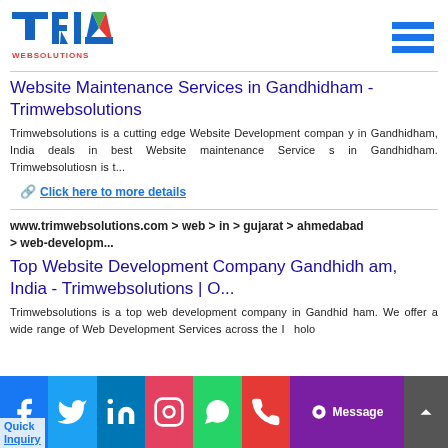[Figure (logo): TRIM WEBSOLUTIONS logo with colorful triangular T and green/blue/red M lettering]
Website Maintenance Services in Gandhidham - Trimwebsolutions
Trimwebsolutions is a cutting edge Website Development company in Gandhidham, India deals in best Website maintenance Services in Gandhidham. Trimwebsolutiosn is t...
Click here to more details
www.trimwebsolutions.com > web > in > gujarat > ahmedabad > web-developm...
Top Website Development Company Gandhidham, India - Trimwebsolutions | O...
Trimwebsolutions is a top web development company in Gandhidham. We offer a wide range of Web Development Services across the I...holo...
[Figure (infographic): Social media bar with Facebook, Twitter, LinkedIn, Instagram, WhatsApp, Phone icons, Message button, and scroll-up button. Quick Inquiry text at bottom left.]